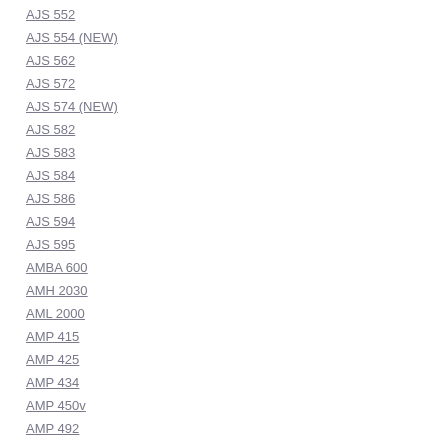AJS 552
AJS 554 (NEW)
AJS 562
AJS 572
AJS 574 (NEW)
AJS 582
AJS 583
AJS 584
AJS 586
AJS 594
AJS 595
AMBA 600
AMH 2030
AML 2000
AMP 415
AMP 425
AMP 434
AMP 450v
AMP 492